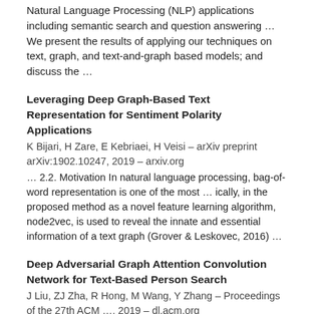Natural Language Processing (NLP) applications including semantic search and question answering … We present the results of applying our techniques on text, graph, and text-and-graph based models; and discuss the …
Leveraging Deep Graph-Based Text Representation for Sentiment Polarity Applications
K Bijari, H Zare, E Kebriaei, H Veisi – arXiv preprint arXiv:1902.10247, 2019 – arxiv.org
… 2.2. Motivation In natural language processing, bag-of-word representation is one of the most … ically, in the proposed method as a novel feature learning algorithm, node2vec, is used to reveal the innate and essential information of a text graph (Grover & Leskovec, 2016) …
Deep Adversarial Graph Attention Convolution Network for Text-Based Person Search
J Liu, ZJ Zha, R Hong, M Wang, Y Zhang – Proceedings of the 27th ACM …, 2019 – dl.acm.org
… The newly emerging text-based person search task aims at retriev- ing the target pedestrian by a query in natural language with fine … Specifically, the A-GANet consists of an image graph attention net- work, a text graph attention